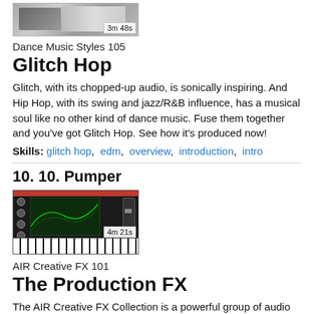[Figure (screenshot): Video thumbnail showing a person at a keyboard/studio setup, with timestamp '3m 48s' overlay]
Dance Music Styles 105
Glitch Hop
Glitch, with its chopped-up audio, is sonically inspiring. And Hip Hop, with its swing and jazz/R&B influence, has a musical soul like no other kind of dance music. Fuse them together and you've got Glitch Hop. See how it's produced now!
Skills: glitch hop, edm, overview, introduction, intro
10. 10. Pumper
[Figure (screenshot): Video thumbnail showing a synthesizer/plugin interface with green waveform display and piano keys, with timestamp '4m 21s' overlay]
AIR Creative FX 101
The Production FX
The AIR Creative FX Collection is a powerful group of audio tools that you can use to spice up any production. Available for any platform, these tools are explained and explored by AIR expert Alex Salem in this 15 tutorial...